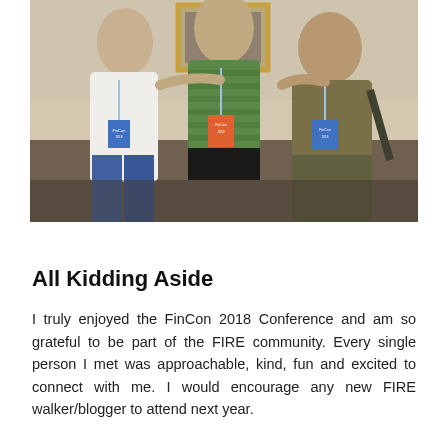[Figure (photo): Three men standing together posing for a photo at what appears to be the FinCon 2018 conference. They are wearing lanyards/conference badges. The man on the left wears a white shirt, the man in the center wears a green striped shirt, and the man on the right wears an olive/green shirt. A framed picture is visible on the wall behind them.]
All Kidding Aside
I truly enjoyed the FinCon 2018 Conference and am so grateful to be part of the FIRE community. Every single person I met was approachable, kind, fun and excited to connect with me. I would encourage any new FIRE walker/blogger to attend next year.